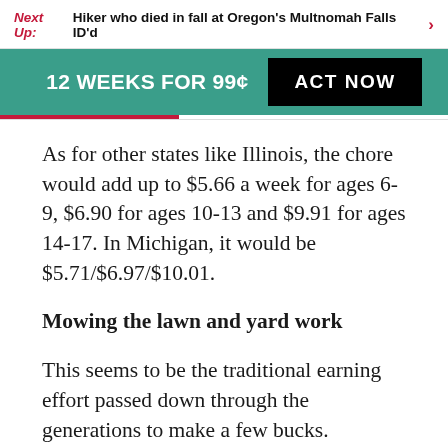Next Up: Hiker who died in fall at Oregon's Multnomah Falls ID'd
[Figure (other): Promotional subscription banner: '12 WEEKS FOR 99¢' with 'ACT NOW' button on teal background]
As for other states like Illinois, the chore would add up to $5.66 a week for ages 6-9, $6.90 for ages 10-13 and $9.91 for ages 14-17. In Michigan, it would be $5.71/$6.97/$10.01.
Mowing the lawn and yard work
This seems to be the traditional earning effort passed down through the generations to make a few bucks.